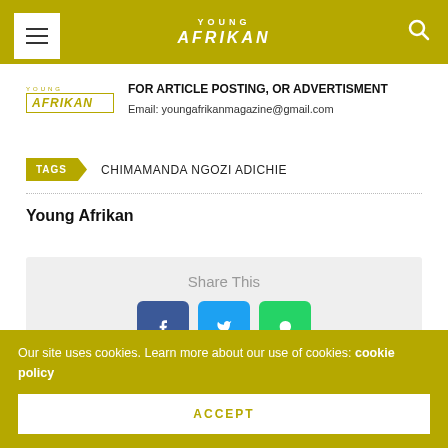YOUNG AFRIKAN
[Figure (logo): Young Afrikan magazine logo and advertisement section with email contact]
FOR ARTICLE POSTING, OR ADVERTISMENT
Email: youngafrikanmagazine@gmail.com
TAGS  CHIMAMANDA NGOZI ADICHIE
Young Afrikan
Share This
Our site uses cookies. Learn more about our use of cookies: cookie policy
ACCEPT